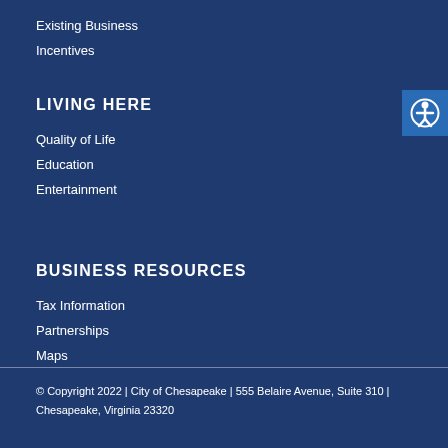Existing Business
Incentives
LIVING HERE
Quality of Life
Education
Entertainment
BUSINESS RESOURCES
Tax Information
Partnerships
Maps
Business Directory
© Copyright 2022 | City of Chesapeake | 555 Belaire Avenue, Suite 310 | Chesapeake, Virginia 23320